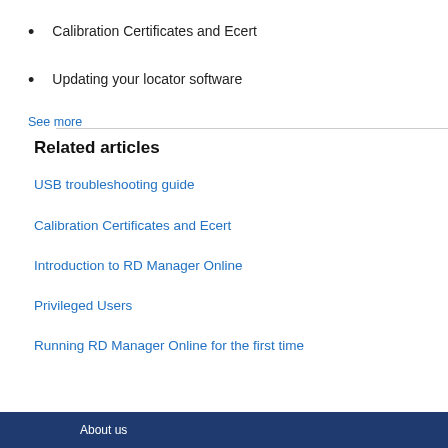Calibration Certificates and Ecert
Updating your locator software
See more
Related articles
USB troubleshooting guide
Calibration Certificates and Ecert
Introduction to RD Manager Online
Privileged Users
Running RD Manager Online for the first time
About us